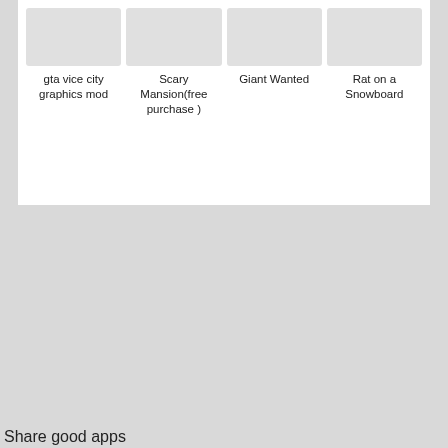[Figure (screenshot): App store / web page fragment showing 4 app thumbnails (gray placeholder images) with titles: 'gta vice city graphics mod', 'Scary Mansion(free purchase )', 'Giant Wanted', 'Rat on a Snowboard']
gta vice city graphics mod
Scary Mansion(free purchase )
Giant Wanted
Rat on a Snowboard
Share good apps